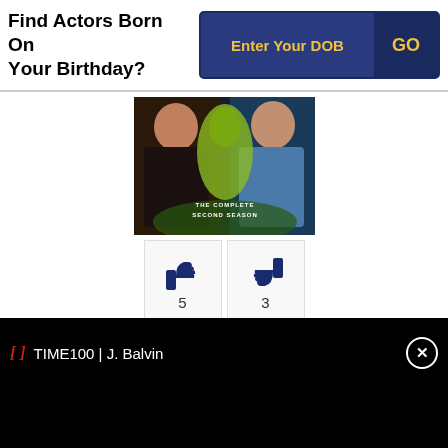Find Actors Born On Your Birthday?
Enter Your DOB
GO
[Figure (photo): Movie DVD cover showing two actors and an alien/figure silhouette with text 'THE COMPLETE SECOND SEASON']
5
3
As: Cast
Director: William Shatner
Genres: Crime, Fantasy, Drama, Action
TIME100 | J. Balvin